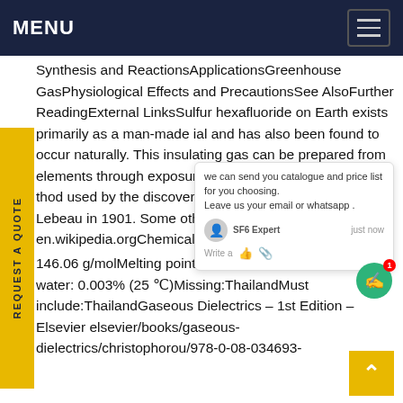MENU
Synthesis and ReactionsApplicationsGreenhouse GasPhysiological Effects and PrecautionsSee AlsoFurther ReadingExternal LinksSulfur hexafluoride on Earth exists primarily as a man-made industrial and has also been found to occur naturally. This insulating gas can be prepared from elemental constituents through exposure of S8 to F2. This was the method used by the discoverers Henri Moissan and Paul Lebeau in 1901. Some other sulfur fluorides are dener See more on en.wikipedia.orgChemical formula: SF₆Molar mass: 146.06 g/molMelting point: &C; -83 &F; 209 KSolubility in water: 0.003% (25 ℃)Missing:ThailandMust include:ThailandGaseous Dielectrics - 1st Edition - Elsevier elsevier/books/gaseous-dielectrics/christophorou/978-0-08-034693-